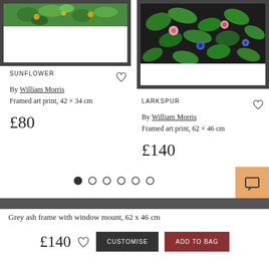[Figure (illustration): Framed art print of Sunflower pattern by William Morris — green floral design on white background with dark grey frame]
SUNFLOWER
By William Morris
Framed art print, 42 × 34 cm
£80
[Figure (illustration): Framed art print of Larkspur pattern by William Morris — green leaves with pink and blue flowers on black and white background with dark grey frame]
LARKSPUR
By William Morris
Framed art print, 62 × 46 cm
£140
[Figure (other): Carousel navigation dots — one filled black, five empty circles]
Grey ash frame with window mount, 62 x 46 cm
£140
CUSTOMISE
ADD TO BAG